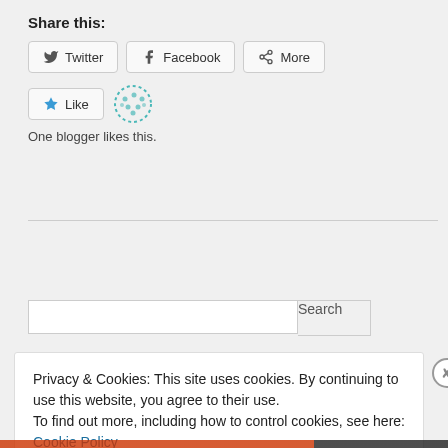Share this:
Twitter   Facebook   More
Like
One blogger likes this.
Privacy & Cookies: This site uses cookies. By continuing to use this website, you agree to their use.
To find out more, including how to control cookies, see here: Cookie Policy
Close and accept